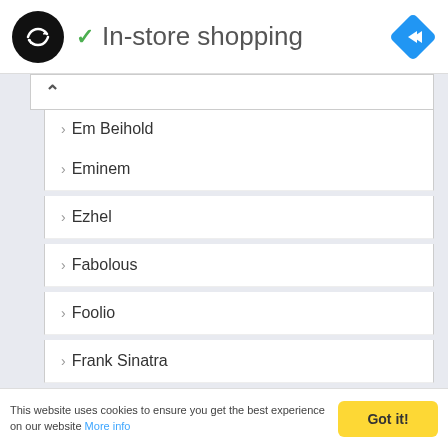[Figure (logo): Black circular logo with double-ended arrow symbol, green checkmark, and blue navigation diamond icon. Header reads 'In-store shopping'.]
Em Beihold
Eminem
Ezhel
Fabolous
Foolio
Frank Sinatra
Freeze Corleone
Future
G-Eazy
This website uses cookies to ensure you get the best experience on our website More info  Got it!